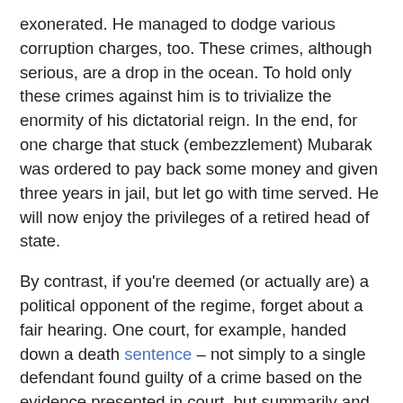exonerated. He managed to dodge various corruption charges, too. These crimes, although serious, are a drop in the ocean. To hold only these crimes against him is to trivialize the enormity of his dictatorial reign. In the end, for one charge that stuck (embezzlement) Mubarak was ordered to pay back some money and given three years in jail, but let go with time served. He will now enjoy the privileges of a retired head of state.
By contrast, if you're deemed (or actually are) a political opponent of the regime, forget about a fair hearing. One court, for example, handed down a death sentence – not simply to a single defendant found guilty of a crime based on the evidence presented in court, but summarily and en masse to 683 people. Did any of these individuals actually commit a crime? The court, evidently, cared nothing for facts or truth; what matters is hewing to the regime's agenda.